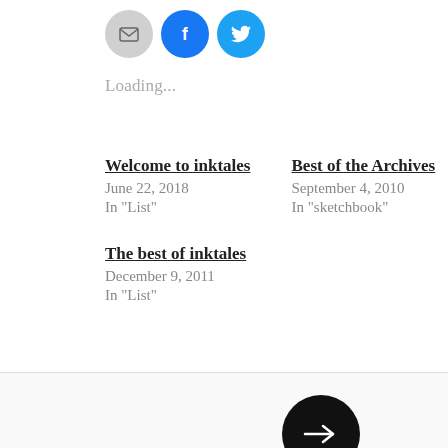[Figure (other): Share buttons: email (grey circle), Facebook (blue circle), Twitter (light blue circle)]
Loading...
Welcome to inktales
June 22, 2018
In "List"
Best of the Archives
September 4, 2010
In "sketchbook"
The best of inktales
December 9, 2011
In "List"
[Figure (other): Black circle with white right arrow, and partial black semicircle at bottom left — navigation/next button UI elements]